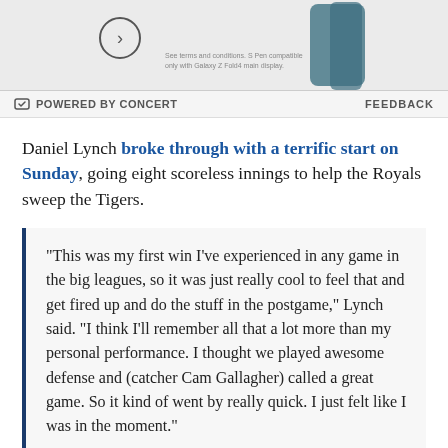[Figure (screenshot): Partial advertisement banner for a Samsung Galaxy Z Fold4 phone showing a device image and a circle arrow button]
POWERED BY CONCERT   FEEDBACK
Daniel Lynch broke through with a terrific start on Sunday, going eight scoreless innings to help the Royals sweep the Tigers.
“This was my first win I’ve experienced in any game in the big leagues, so it was just really cool to feel that and get fired up and do the stuff in the postgame,” Lynch said. “I think I’ll remember all that a lot more than my personal performance. I thought we played awesome defense and (catcher Cam Gallagher) called a great game. So it kind of went by really quick. I just felt like I was in the moment.”